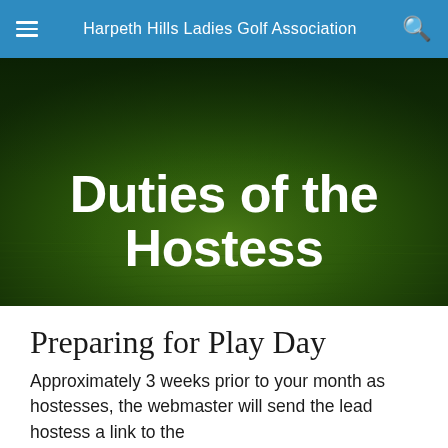Harpeth Hills Ladies Golf Association
[Figure (photo): Golf course grass close-up photo used as hero banner background]
Duties of the Hostess
Preparing for Play Day
Approximately 3 weeks prior to your month as hostesses, the webmaster will send the lead hostess a link to the